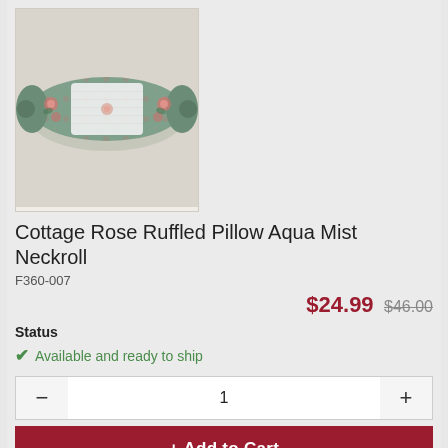[Figure (photo): Cottage Rose Ruffled Pillow Aqua Mist Neckroll product photo — a cylindrical bolster pillow with floral rose fabric in aqua/sage green with white lace trim around the center, ends gathered and tied.]
Cottage Rose Ruffled Pillow Aqua Mist Neckroll
F360-007
$24.99 $46.00
Status
Available and ready to ship
1
+ Add to Cart